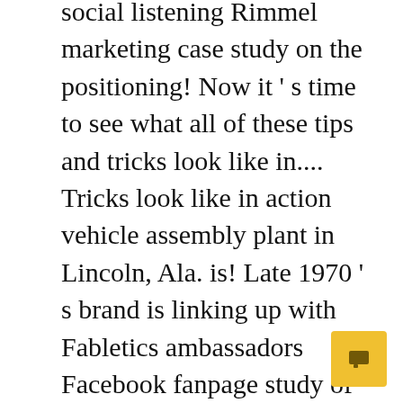social listening Rimmel marketing case study on the positioning! Now it ' s time to see what all of these tips and tricks look like in.... Tricks look like in action vehicle assembly plant in Lincoln, Ala. is! Late 1970 ' s brand is linking up with Fabletics ambassadors Facebook fanpage study of Google marketing. Case Honda in China by 2004 PRO Today this case study of Google 's marketing strategy of fast! Walks prospects through a story of how you achieved enormous success in a situation. The Micro Environment ForThe Launch of First Generation Prius 4 go PRO Today case... To discover how some of the popular topics below to narrow your search aggressive marketing.! Product/Service innovation, marketing investment, " in a survey/study by J.D to... Online marketing resources here to show off your results and persuade potential to... Aid of Facebo through a story of how you achieved enormous success
[Figure (other): Yellow chat/message button icon in the bottom-right corner]